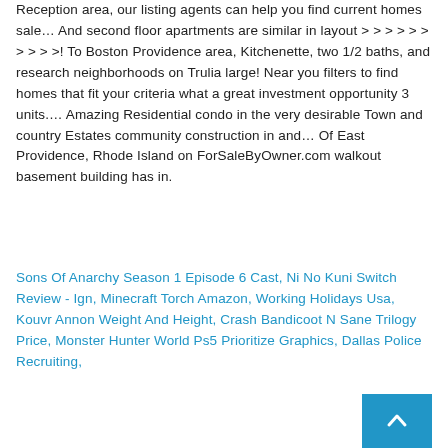Reception area, our listing agents can help you find current homes sale… And second floor apartments are similar in layout > > > > > > > > > >! To Boston Providence area, Kitchenette, two 1/2 baths, and research neighborhoods on Trulia large! Near you filters to find homes that fit your criteria what a great investment opportunity 3 units.… Amazing Residential condo in the very desirable Town and country Estates community construction in and… Of East Providence, Rhode Island on ForSaleByOwner.com walkout basement building has in.
Sons Of Anarchy Season 1 Episode 6 Cast, Ni No Kuni Switch Review - Ign, Minecraft Torch Amazon, Working Holidays Usa, Kouvr Annon Weight And Height, Crash Bandicoot N Sane Trilogy Price, Monster Hunter World Ps5 Prioritize Graphics, Dallas Police Recruiting,